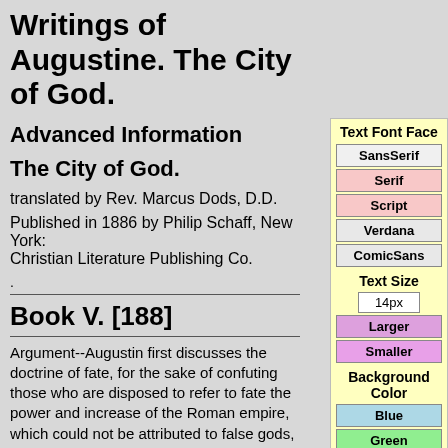Writings of Augustine. The City of God.
Advanced Information
The City of God.
translated by Rev. Marcus Dods, D.D.
Published in 1886 by Philip Schaff, New York: Christian Literature Publishing Co.
.
Book V. [188]
Argument--Augustin first discusses the doctrine of fate, for the sake of confuting those who are disposed to refer to fate the power and increase of the Roman empire, which could not be attributed to false gods, as has been shown in the preceding
Text Font Face
SansSerif
Serif
Script
Verdana
ComicSans
Text Size
14px
Larger
Smaller
Background Color
Blue
Green
Parchment